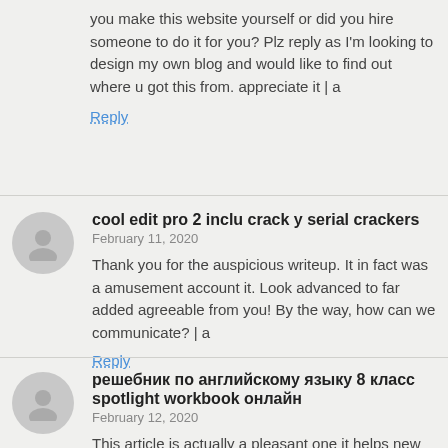you make this website yourself or did you hire someone to do it for you? Plz reply as I'm looking to design my own blog and would like to find out where u got this from. appreciate it | a
Reply
cool edit pro 2 inclu crack y serial crackers
February 11, 2020
Thank you for the auspicious writeup. It in fact was a amusement account it. Look advanced to far added agreeable from you! By the way, how can we communicate? | a
Reply
решебник по английскому языку 8 класс spotlight workbook онлайн
February 12, 2020
This article is actually a pleasant one it helps new net users, who are wishing for blogging. | a